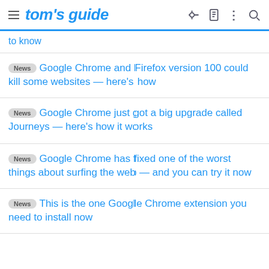tom's guide
to know
News Google Chrome and Firefox version 100 could kill some websites — here's how
News Google Chrome just got a big upgrade called Journeys — here's how it works
News Google Chrome has fixed one of the worst things about surfing the web — and you can try it now
News This is the one Google Chrome extension you need to install now